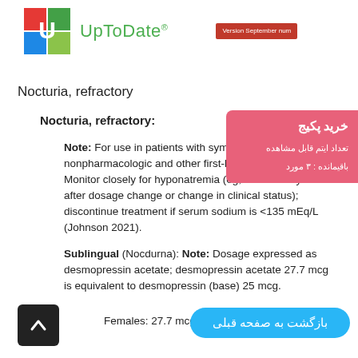[Figure (logo): UpToDate logo with colorful U icon and green UpToDate text, plus red version badge]
Nocturia, refractory
Nocturia, refractory:
Note: For use in patients with symptoms refractory to nonpharmacologic and other first-line therapies. Monitor closely for hyponatremia (eg, within 7 days after dosage change or change in clinical status); discontinue treatment if serum sodium is <135 mEq/L (Johnson 2021).
Sublingual (Nocdurna): Note: Dosage expressed as desmopressin acetate; desmopressin acetate 27.7 mcg is equivalent to desmopressin (base) 25 mcg.
Females: 27.7 mcg once nightly at bedtime.
[Figure (infographic): Pink popup overlay in Persian/Farsi: 'خرید پکیج' (Buy package), showing number of viewable items and remaining: 3 items]
[Figure (other): Dark back/up arrow button (chevron up icon on black square)]
بازگشت به صفحه قبلی